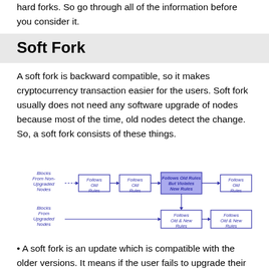hard forks. So go through all of the information before you consider it.
Soft Fork
A soft fork is backward compatible, so it makes cryptocurrency transaction easier for the users. Soft fork usually does not need any software upgrade of nodes because most of the time, old nodes detect the change. So, a soft fork consists of these things.
[Figure (flowchart): Flowchart showing soft fork block processing. Blocks From Non-Upgraded Nodes flow through 'Follows Old Rules' -> 'Follows Old Rules' -> 'Follows Old Rules But Violates New Rules' which splits to 'Follows Old Rules' (top right). Blocks From Upgraded Nodes flow through 'Follows Old & New Rules' -> 'Follows Old & New Rules'. The central 'Follows Old Rules But Violates New Rules' also connects down to the upgraded path.]
• A soft fork is an update which is compatible with the older versions. It means if the user fails to upgrade their application to the current version, they won't be entirely